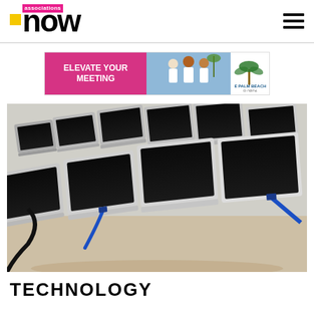associations now — navigation header with hamburger menu
[Figure (illustration): Advertisement banner: 'ELEVATE YOUR MEETING' in white bold text on magenta/pink background, with photo of three people, and 'THE PALM BEACHES FLORIDA' logo on white background]
[Figure (photo): Rows of white-framed computer monitors with black screens, arranged diagonally, with blue USB/VGA cables visible, shot from a low angle in a bright room]
TECHNOLOGY